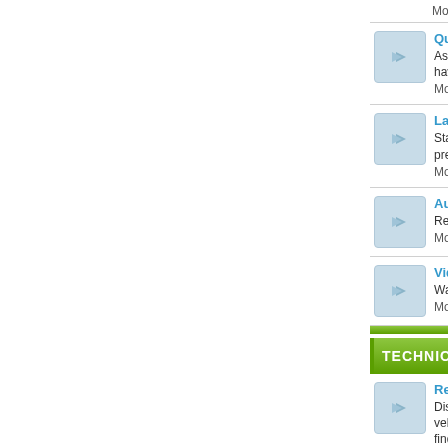Moderator: azi malik
Questions or Comments about Autodealer.ae — Ask any questions regarding Autodealer.ae and if you have any Comments please feel free to share. Moderator: azi malik
Latest News — Stay current with daily news updates from local press. Moderator: azi malik
Automobile Reviews — Read reviews of the latest cars and share you. Moderator: azi malik
Videos — Watch some amazing videos from automobile. Moderator: azi malik
TECHNICAL DISCUSSIONS
Repairs, Spare Parts, Maintenance — Discuss technical questions about repairing, vehicles. Also tips on spare parts and accessories find them.... Moderator: azi malik
Performance Tuning — Discuss how to tune up vehicles, whats legal get mods done, body kits, spoilers, ... Moderator: azi malik
VEHICLE DISCUSSIONS